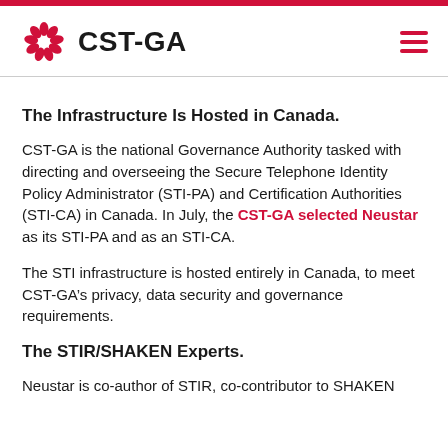CST-GA
The Infrastructure Is Hosted in Canada.
CST-GA is the national Governance Authority tasked with directing and overseeing the Secure Telephone Identity Policy Administrator (STI-PA) and Certification Authorities (STI-CA) in Canada. In July, the CST-GA selected Neustar as its STI-PA and as an STI-CA.
The STI infrastructure is hosted entirely in Canada, to meet CST-GA’s privacy, data security and governance requirements.
The STIR/SHAKEN Experts.
Neustar is co-author of STIR, co-contributor to SHAKEN